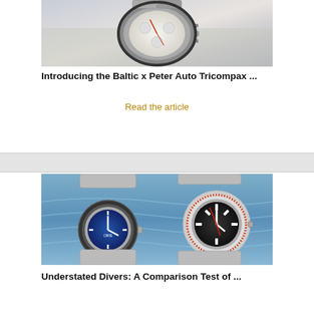[Figure (photo): Close-up photo of a Baltic x Peter Auto Tricompax chronograph watch being held, showing a white dial with sub-dials and red chronograph hands.]
Introducing the Baltic x Peter Auto Tricompax ...
Read the article
[Figure (photo): Photo of two diver watches against a blue water background — an Oris Aquis with blue dial and black bezel on the left, and a Laco diver with black dial and red seconds hand on the right.]
Understated Divers: A Comparison Test of ...